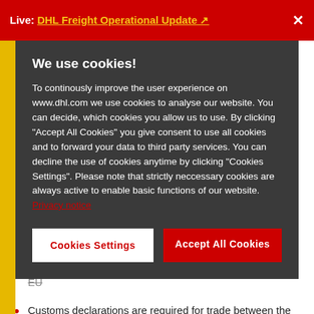Live: DHL Freight Operational Update ×
We use cookies!
To continously improve the user experience on www.dhl.com we use cookies to analyse our website. You can decide, which cookies you allow us to use. By clicking "Accept All Cookies" you give consent to use all cookies and to forward your data to third party services. You can decline the use of cookies anytime by clicking "Cookies Settings". Please note that strictly neccessary cookies are always active to enable basic functions of our website. Privacy notice
Cookies Settings
Accept All Cookies
Customs duties and taxes on imports into the UK and the EU
Customs declarations are required for trade between the UK and the EU
Transit through member...